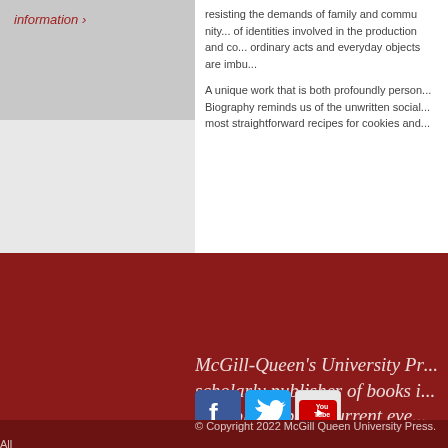information ›
resisting the demands of family and community... of identities involved in the production and co... ordinary acts and everyday objects are imbu...
A unique work that is both profoundly person... Biography reminds us of the unwritten social... most straightforward recipes for cookies and...
← back to filtered results
McGill-Queen's University Pr... scholarly publisher of books i... in public debate, current eve... contemporary thought, and t...
[Figure (logo): Facebook, Twitter, and YouTube social media icons]
© Copyright 2022 McGill Queen University Press. All